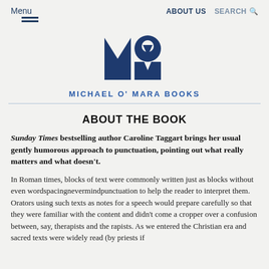Menu   ABOUT US   SEARCH
[Figure (logo): Michael O'Mara Books logo — stylized MO letters in dark navy blue]
MICHAEL O' MARA BOOKS
ABOUT THE BOOK
Sunday Times bestselling author Caroline Taggart brings her usual gently humorous approach to punctuation, pointing out what really matters and what doesn't.
In Roman times, blocks of text were commonly written just as blocks without even wordspacingnevermindpunctuation to help the reader to interpret them. Orators using such texts as notes for a speech would prepare carefully so that they were familiar with the content and didn't come a cropper over a confusion between, say, therapists and the rapists. As we entered the Christian era and sacred texts were widely read (by priests if